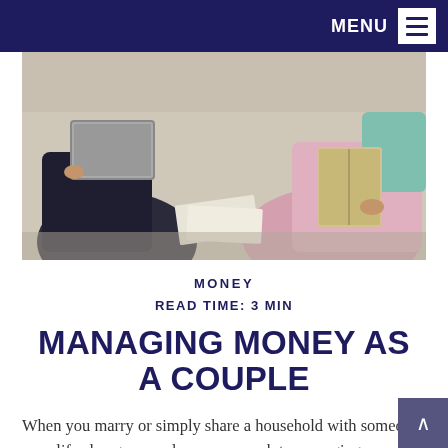MENU
[Figure (photo): Two people sitting on a couch, one holding a laptop and one holding a book/magazine, with papers between them]
MONEY
READ TIME: 3 MIN
MANAGING MONEY AS A COUPLE
When you marry or simply share a household with someone, your life changes—and your approach to managing your money may change as well. The good news is it's usually not so difficult.